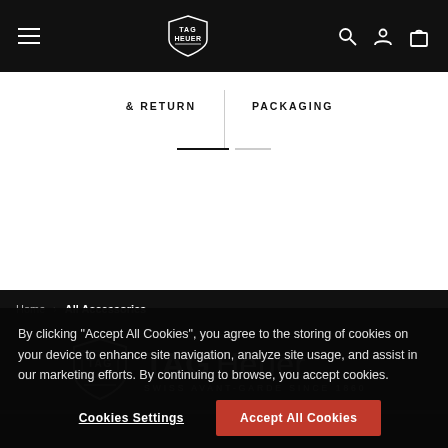TAG Heuer navigation bar with hamburger menu, logo, search, account, and cart icons
& RETURN
PACKAGING
[Figure (logo): TAG Heuer shield logo with text TAGHeuer SWISS AVANT-GARDE SINCE 1860]
Home > All Accessories
By clicking “Accept All Cookies”, you agree to the storing of cookies on your device to enhance site navigation, analyze site usage, and assist in our marketing efforts. By continuing to browse, you accept cookies.
Cookies Settings
Accept All Cookies